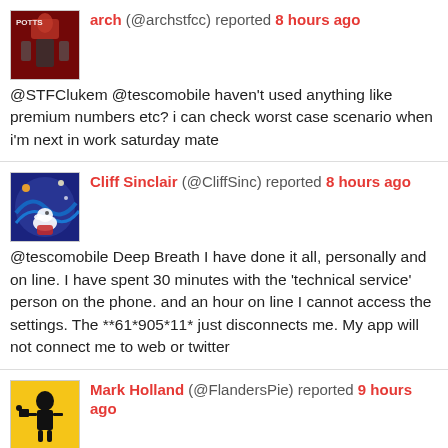arch (@archstfcc) reported 8 hours ago @STFClukem @tescomobile haven't used anything like premium numbers etc? i can check worst case scenario when i'm next in work saturday mate
Cliff Sinclair (@CliffSinc) reported 8 hours ago @tescomobile Deep Breath I have done it all, personally and on line. I have spent 30 minutes with the 'technical service' person on the phone. and an hour on line I cannot access the settings. The **61*905*11* just disconnects me. My app will not connect me to web or twitter
Mark Holland (@FlandersPie) reported 9 hours ago @tescomobile hi your webchat is showing offline